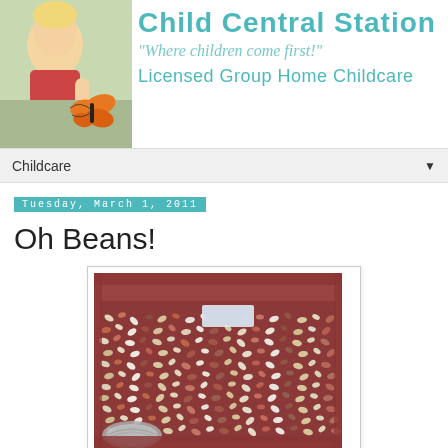[Figure (logo): Child Central Station website banner with child photo, butterfly, teal text reading 'Child Central Station', tagline '"Where children come first!"', and 'Licensed Group Home Childcare']
Childcare
Tuesday, March 1, 2011
Oh Beans!
[Figure (photo): A red/maroon plastic tray filled with mixed dried beans of various colors and sizes. A small metal lid is visible in the lower left corner of the tray. A clear plastic label holder is visible near the back of the tray.]